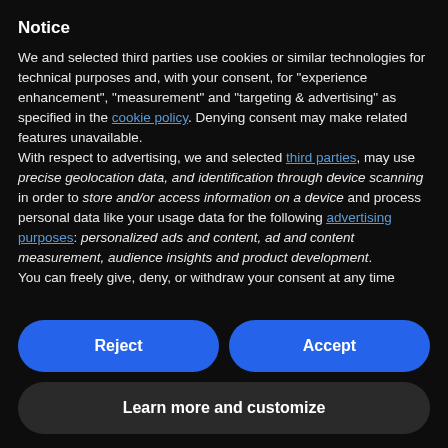Notice
We and selected third parties use cookies or similar technologies for technical purposes and, with your consent, for “experience enhancement”, “measurement” and “targeting & advertising” as specified in the cookie policy. Denying consent may make related features unavailable.
With respect to advertising, we and selected third parties, may use precise geolocation data, and identification through device scanning in order to store and/or access information on a device and process personal data like your usage data for the following advertising purposes: personalized ads and content, ad and content measurement, audience insights and product development.
You can freely give, deny, or withdraw your consent at any time
Reject
Accept
Learn more and customize